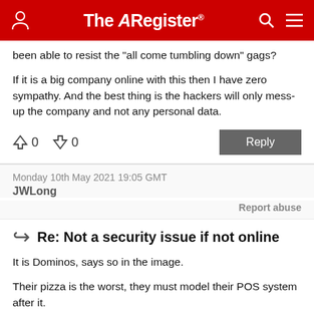The Register
been able to resist the "all come tumbling down" gags?

If it is a big company online with this then I have zero sympathy. And the best thing is the hackers will only mess-up the company and not any personal data.
↑0  ↓0
Monday 10th May 2021 19:05 GMT
JWLong
Report abuse
Re: Not a security issue if not online
It is Dominos, says so in the image.

Their pizza is the worst, they must model their POS system after it.